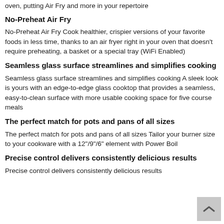oven, putting Air Fry and more in your repertoire
No-Preheat Air Fry
No-Preheat Air Fry Cook healthier, crispier versions of your favorite foods in less time, thanks to an air fryer right in your oven that doesn't require preheating, a basket or a special tray (WiFi Enabled)
Seamless glass surface streamlines and simplifies cooking
Seamless glass surface streamlines and simplifies cooking A sleek look is yours with an edge-to-edge glass cooktop that provides a seamless, easy-to-clean surface with more usable cooking space for five course meals
The perfect match for pots and pans of all sizes
The perfect match for pots and pans of all sizes Tailor your burner size to your cookware with a 12"/9"/6" element with Power Boil
Precise control delivers consistently delicious results
Precise control delivers consistently delicious results